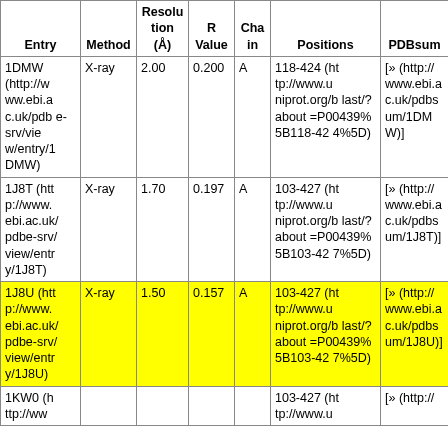| Entry | Method | Resolution (Å) | R Value | Chain | Positions | PDBsum |
| --- | --- | --- | --- | --- | --- | --- |
| 1DMW (http://www.ebi.ac.uk/pdbe-srv/view/entry/1DMW) | X-ray | 2.00 | 0.200 | A | 118-424 (http://www.uniprot.org/blast/?about=P00439%5B118-424%5D) | [» (http://www.ebi.ac.uk/pdbsum/1DMW)] |
| 1J8T (http://www.ebi.ac.uk/pdbe-srv/view/entry/1J8T) | X-ray | 1.70 | 0.197 | A | 103-427 (http://www.uniprot.org/blast/?about=P00439%5B103-427%5D) | [» (http://www.ebi.ac.uk/pdbsum/1J8T)] |
| 1J8U (http://www.ebi.ac.uk/pdbe-srv/view/entry/1J8U) [yellow] | X-ray | 1.50 | 0.157 | A | 103-427 (http://www.uniprot.org/blast/?about=P00439%5B103-427%5D) | [» (http://www.ebi.ac.uk/pdbsum/1J8U)] |
| 1KW0 (http://ww... |  |  |  |  | 103-427 (http://www.u... | [» (http://... |